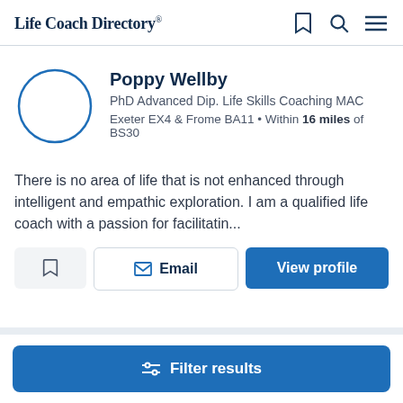Life Coach Directory
Poppy Wellby
PhD Advanced Dip. Life Skills Coaching MAC
Exeter EX4 & Frome BA11 • Within 16 miles of BS30
There is no area of life that is not enhanced through intelligent and empathic exploration. I am a qualified life coach with a passion for facilitatin...
Email
View profile
Filter results